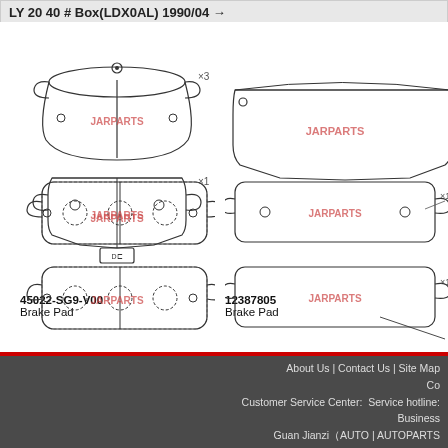LY 20 40 # Box(LDX0AL) 1990/04 →
[Figure (illustration): Brake pad illustration for part 45022-SG9-V00, showing two brake pad views with JARPARTS watermark, x3 and x1 quantity markers]
45022-SG9-V00
Brake Pad
[Figure (illustration): Brake pad illustration for part 12387805, showing single brake pad view with JARPARTS watermark, partially cropped]
12387805
Brake Pad
[Figure (illustration): Brake pad set illustration for part MB950637, showing two brake pad views with JARPARTS watermark]
MB950637
Brake Pad Set
[Figure (illustration): Brake pad illustration for part LEY4-26-43Z, showing two brake pad views with JARPARTS watermark, x1 quantity markers, partially cropped]
LEY4-26-43Z
Brake Pad
About Us | Contact Us | Site Map
Co
Customer Service Center: Service hotline:
Business
Guan Jianzi（AUTO | AUTOPARTS